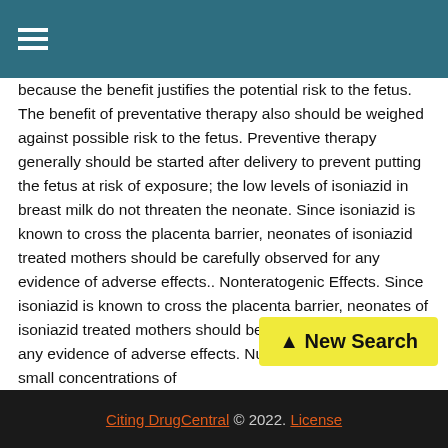because the benefit justifies the potential risk to the fetus. The benefit of preventative therapy also should be weighed against possible risk to the fetus. Preventive therapy generally should be started after delivery to prevent putting the fetus at risk of exposure; the low levels of isoniazid in breast milk do not threaten the neonate. Since isoniazid is known to cross the placenta barrier, neonates of isoniazid treated mothers should be carefully observed for any evidence of adverse effects.. Nonteratogenic Effects. Since isoniazid is known to cross the placenta barrier, neonates of isoniazid treated mothers should be carefully observed for any evidence of adverse effects. Nursing Mothers. The small concentrations of
[Figure (other): Yellow 'New Search' button with upward arrow icon]
Citing DrugCentral © 2022. License